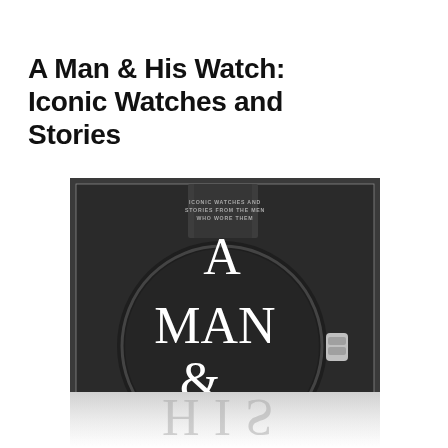A Man & His Watch: Iconic Watches and Stories
[Figure (photo): Book cover of 'A Man & His Watch: Iconic Watches and Stories from the Men Who Wore Them'. Dark/black cover featuring a large watch face with the text 'A', 'MAN', '&' in large white serif font, and a watch crown visible on the right side. Small subtitle text reads 'ICONIC WATCHES AND STORIES FROM THE MEN WHO WORE THEM'. Below the cover is a reflection showing 'HIS' text.]